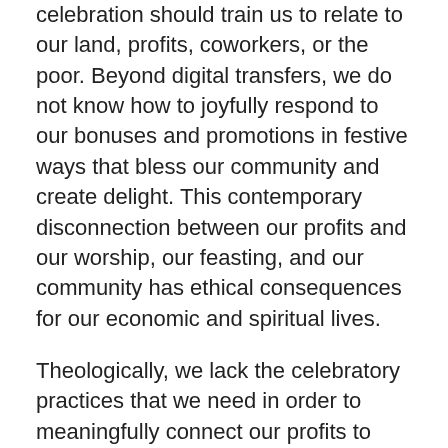celebration should train us to relate to our land, profits, coworkers, or the poor. Beyond digital transfers, we do not know how to joyfully respond to our bonuses and promotions in festive ways that bless our community and create delight. This contemporary disconnection between our profits and our worship, our feasting, and our community has ethical consequences for our economic and spiritual lives.
Theologically, we lack the celebratory practices that we need in order to meaningfully connect our profits to God's provision and presence. Predictably, in the absence of the feast, we vocationally forget. We imagine that our bonuses and promotions result from our diligence, hard work, brilliance, or good fortune. We make our harvest. We decide where it goes. And we do all this alone. Or, of course, we begin to attribute